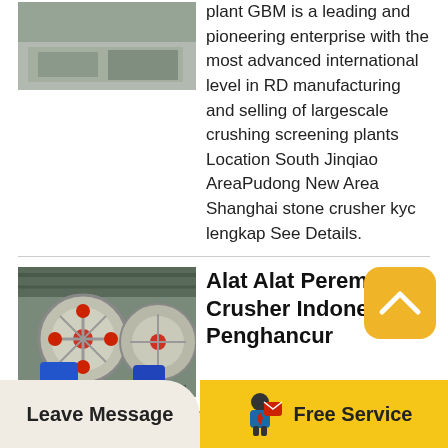[Figure (photo): Industrial crushing/screening plant equipment photo (partial, top-left)]
plant GBM is a leading and pioneering enterprise with the most advanced international level in RD manufacturing and selling of largescale crushing screening plants Location South Jinqiao AreaPudong New Area Shanghai stone crusher kyc lengkap See Details.
[Figure (photo): Industrial crusher machine with large wheels and blue motors in a factory setting]
Alat Alat Peremuk Crusher Indonesia Penghancur
Alat alat peremuk crusher CGM Crushing Plant track crusher First of all the stone by the coarse crusher jaw crusher preliminary crushing production into.
Leave Message
Free Service